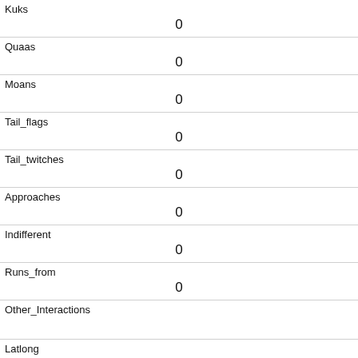| Field | Value |
| --- | --- |
| Kuks | 0 |
| Quaas | 0 |
| Moans | 0 |
| Tail_flags | 0 |
| Tail_twitches | 0 |
| Approaches | 0 |
| Indifferent | 0 |
| Runs_from | 0 |
| Other_Interactions |  |
| Latlong | POINT (-73.9683479943823 40.7815827298303) |
| Zip Codes |  |